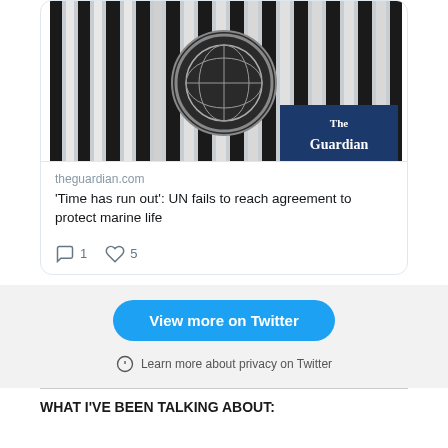[Figure (screenshot): Twitter/social media embed card showing a Guardian article with UN building image and The Guardian logo overlay]
theguardian.com
'Time has run out': UN fails to reach agreement to protect marine life
1 comment, 5 likes
View more on Twitter
Learn more about privacy on Twitter
WHAT I'VE BEEN TALKING ABOUT: